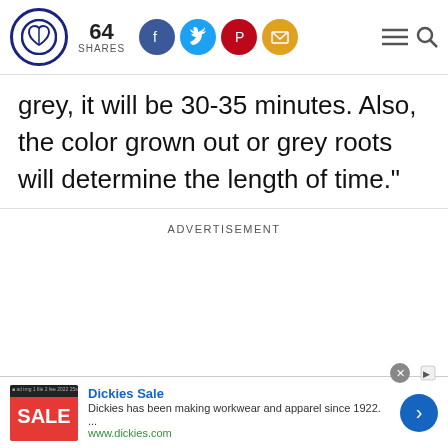64 SHARES — social share bar with Facebook, Twitter, Pinterest, Email icons plus hamburger menu and search
grey, it will be 30-35 minutes. Also, the color grown out or grey roots will determine the length of time."
ADVERTISEMENT
[Figure (screenshot): Dickies Sale advertisement banner. Red sale image on left, ad text: 'Dickies Sale — Dickies has been making workwear and apparel since 1922. ... www.dickies.com', blue arrow button on right.]